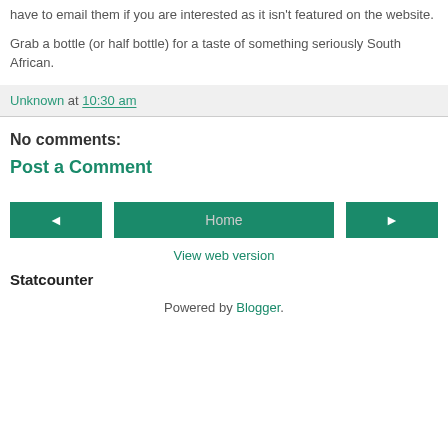have to email them if you are interested as it isn't featured on the website.
Grab a bottle (or half bottle) for a taste of something seriously South African.
Unknown at 10:30 am
No comments:
Post a Comment
◄  Home  ►
View web version
Statcounter
Powered by Blogger.